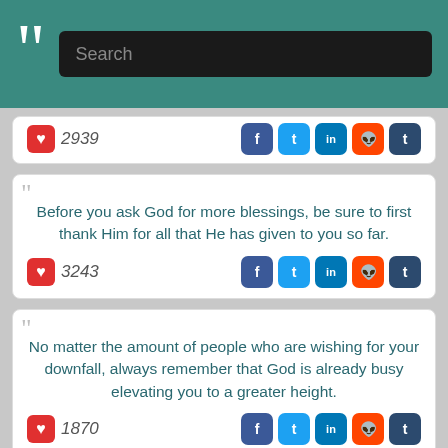Search
2939
Before you ask God for more blessings, be sure to first thank Him for all that He has given to you so far.
3243
No matter the amount of people who are wishing for your downfall, always remember that God is already busy elevating you to a greater height.
1870
When you have an unshakeable faith in what you seek, the length of its journey becomes